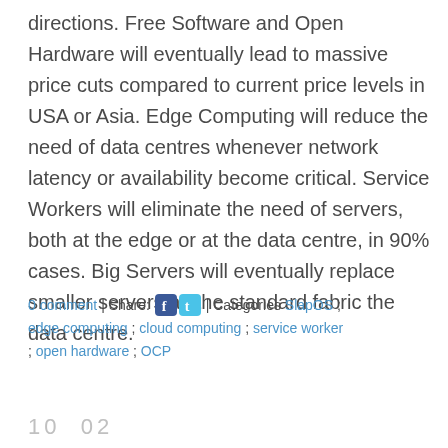directions. Free Software and Open Hardware will eventually lead to massive price cuts compared to current price levels in USA or Asia. Edge Computing will reduce the need of data centres whenever network latency or availability become critical. Service Workers will eliminate the need of servers, both at the edge or at the data centre, in 90% cases. Big Servers will eventually replace smaller servers as the standard fabric the data centre.
0 comment | Share: [Facebook] [Twitter] | Categories SlapOS ; edge computing ; cloud computing ; service worker ; open hardware ; OCP
10  02